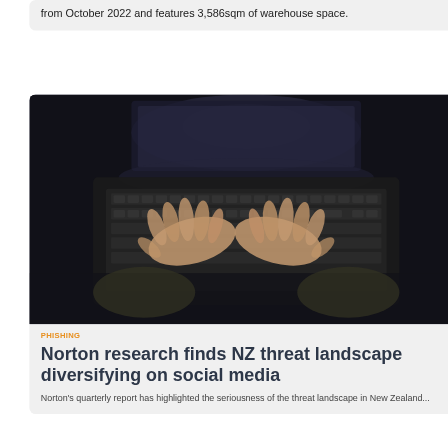from October 2022 and features 3,586sqm of warehouse space.
[Figure (photo): Dark overhead photo of hands typing on a laptop keyboard]
PHISHING
Norton research finds NZ threat landscape diversifying on social media
Norton's quarterly report has highlighted the seriousness of the threat landscape in New Zealand...